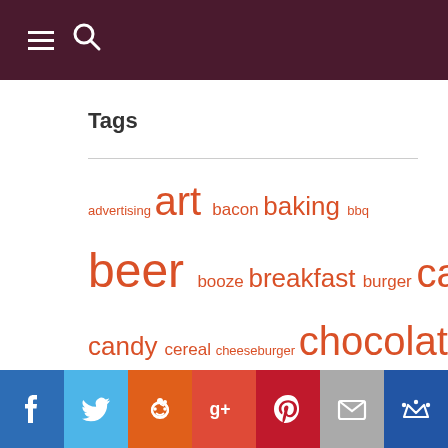Menu and Search icons
Tags
advertising art bacon baking bbq beer booze breakfast burger cake candy cereal cheeseburger chocolate coffee cookies cooking cupcakes design dessert fashion food art graphic design halloween how to ice cream
Social sharing buttons: Facebook, Twitter, Reddit, Google+, Pinterest, Email, Crown